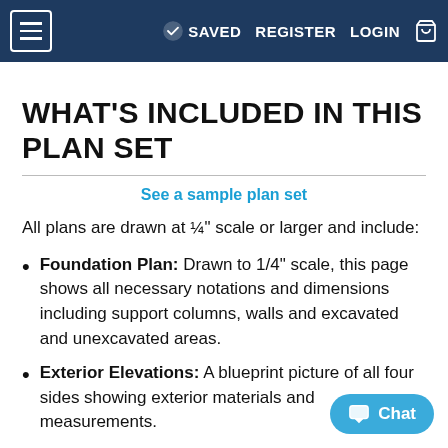≡  SAVED  REGISTER  LOGIN  🛒
WHAT'S INCLUDED IN THIS PLAN SET
See a sample plan set
All plans are drawn at ¼″ scale or larger and include:
Foundation Plan: Drawn to 1/4" scale, this page shows all necessary notations and dimensions including support columns, walls and excavated and unexcavated areas.
Exterior Elevations: A blueprint picture of all four sides showing exterior materials and measurements.